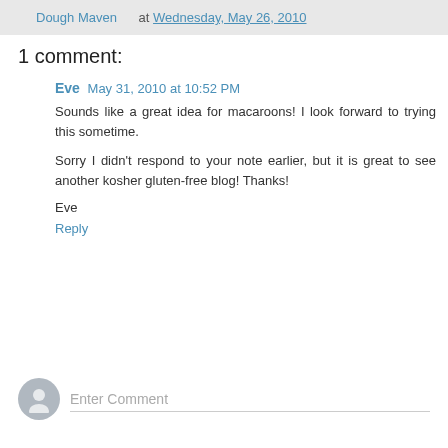Dough Maven at Wednesday, May 26, 2010
1 comment:
Eve  May 31, 2010 at 10:52 PM
Sounds like a great idea for macaroons! I look forward to trying this sometime.

Sorry I didn't respond to your note earlier, but it is great to see another kosher gluten-free blog! Thanks!

Eve
Reply
Enter Comment